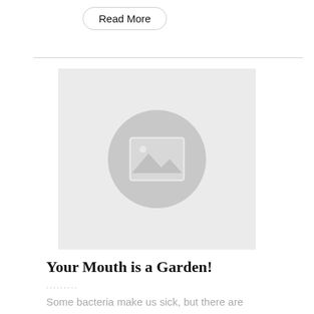Read More
[Figure (illustration): Placeholder image with a grey background and a grey circle containing a landscape/photo placeholder icon (mountains and sun outline)]
Your Mouth is a Garden!
·········
Some bacteria make us sick, but there are